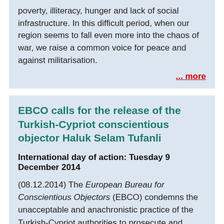poverty, illiteracy, hunger and lack of social infrastructure. In this difficult period, when our region seems to fall even more into the chaos of war, we raise a common voice for peace and against militarisation.
... more
EBCO calls for the release of the Turkish-Cypriot conscientious objector Haluk Selam Tufanli
International day of action: Tuesday 9 December 2014
(08.12.2014) The European Bureau for Conscientious Objectors (EBCO) condemns the unacceptable and anachronistic practice of the Turkish-Cypriot authorities to prosecute and imprison conscientious objectors to military service. EBCO calls for the immediate release of 31-year-old conscientious objector Haluk Selam Tufanli and for the full recognition of the right to conscientious objection to military service for conscripts, reservists and professional